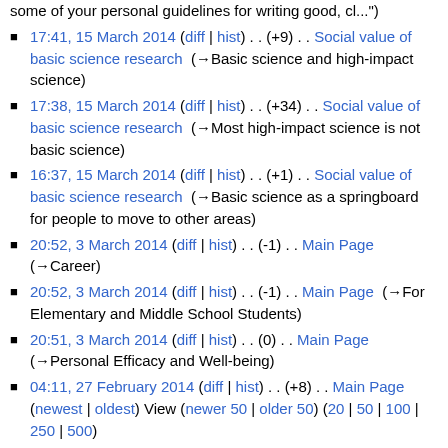some of your personal guidelines for writing good, cl...")
17:41, 15 March 2014 (diff | hist) . . (+9) . . Social value of basic science research (→Basic science and high-impact science)
17:38, 15 March 2014 (diff | hist) . . (+34) . . Social value of basic science research (→Most high-impact science is not basic science)
16:37, 15 March 2014 (diff | hist) . . (+1) . . Social value of basic science research (→Basic science as a springboard for people to move to other areas)
20:52, 3 March 2014 (diff | hist) . . (-1) . . Main Page (→Career)
20:52, 3 March 2014 (diff | hist) . . (-1) . . Main Page (→For Elementary and Middle School Students)
20:51, 3 March 2014 (diff | hist) . . (0) . . Main Page (→Personal Efficacy and Well-being)
04:11, 27 February 2014 (diff | hist) . . (+8) . . Main Page (newest | oldest) View (newer 50 | older 50) (20 | 50 | 100 | 250 | 500)